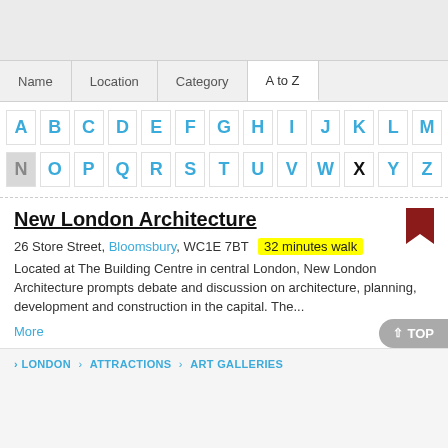[Figure (screenshot): Top grey navigation bar of a website]
| Name | Location | Category | A to Z |
| --- | --- | --- | --- |
[Figure (other): Alphabet A to Z navigation grid with N selected and X inactive. Row 1: A B C D E F G H I J K L M. Row 2: N (selected) O P Q R S T U V W X (inactive/black) Y Z]
New London Architecture
26 Store Street, Bloomsbury, WC1E 7BT  32 minutes walk
Located at The Building Centre in central London, New London Architecture prompts debate and discussion on architecture, planning, development and construction in the capital. The...
More
› LONDON › ATTRACTIONS › ART GALLERIES